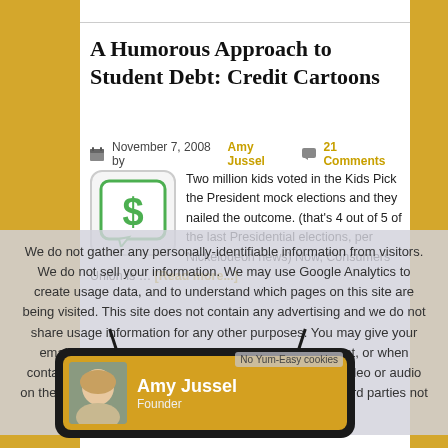A Humorous Approach to Student Debt: Credit Cartoons
November 7, 2008 by Amy Jussel  21 Comments
Two million kids voted in the Kids Pick the President mock elections and they nailed the outcome. (that's 4 out of 5 of the last Presidential elections, per Nickelodeon news) Now, Consumers Union is … [Read more...]
We do not gather any personally-identifiable information from visitors. We do not sell your information. We may use Google Analytics to create usage data, and to understand which pages on this site are being visited. This site does not contain any advertising and we do not share usage information for any other purposes. You may give your email address for our mailing list, as part of a comment, or when contacting us, but that is entirely up to you. If you play video or audio on the site, you may be sharing usage information with third parties not under our control.
No Yum-Easy cookies
Amy Jussel